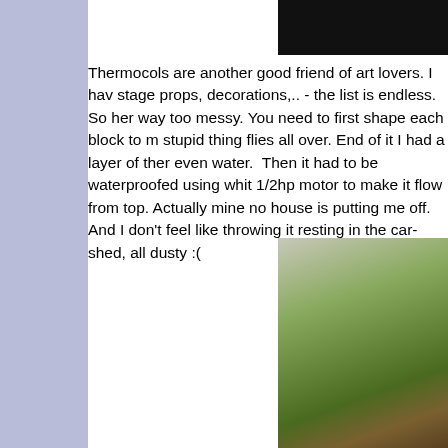[Figure (photo): Dark/black image in top right corner, partial view]
Thermocols are another good friend of art lovers. I hav stage props, decorations,.. - the list is endless. So her way too messy. You need to first shape each block to m stupid thing flies all over. End of it I had a layer of ther even water. Then it had to be waterproofed using whit 1/2hp motor to make it flow from top. Actually mine no house is putting me off. And I don't feel like throwing it resting in the car-shed, all dusty :(
[Figure (photo): Photo of a green and brown sculptural object, appears to be a decorative thermocol/foam creation shaped like a mountain or rock formation with moss-like texture]